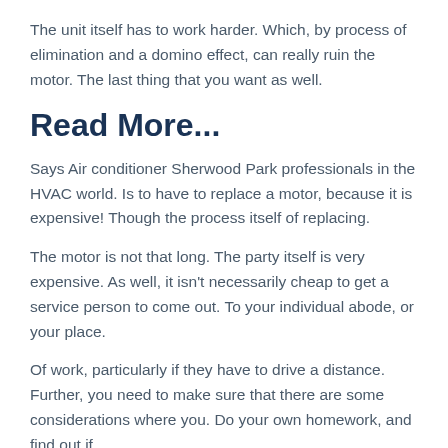The unit itself has to work harder. Which, by process of elimination and a domino effect, can really ruin the motor. The last thing that you want as well.
Read More...
Says Air conditioner Sherwood Park professionals in the HVAC world. Is to have to replace a motor, because it is expensive! Though the process itself of replacing.
The motor is not that long. The party itself is very expensive. As well, it isn't necessarily cheap to get a service person to come out. To your individual abode, or your place.
Of work, particularly if they have to drive a distance. Further, you need to make sure that there are some considerations where you. Do your own homework, and find out if.